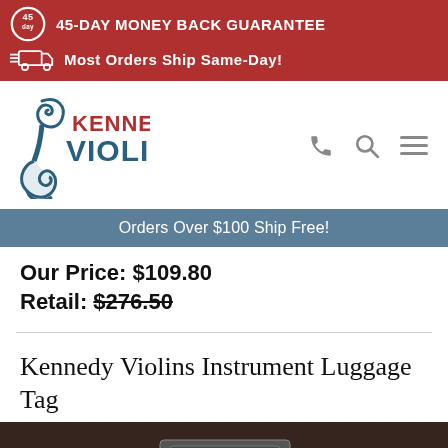45-DAY MONEY BACK GUARANTEE
Most Orders Ship Same-Day!
[Figure (logo): Kennedy Violins logo with violin scroll graphic and text KENNEDY VIOLINS in red and dark blue]
Orders Over $100 Ship Free!
Our Price: $109.80
Retail: $276.50
Kennedy Violins Instrument Luggage Tag
[Figure (photo): Close-up photo of a dark leather instrument case handle with metal clasp hardware]